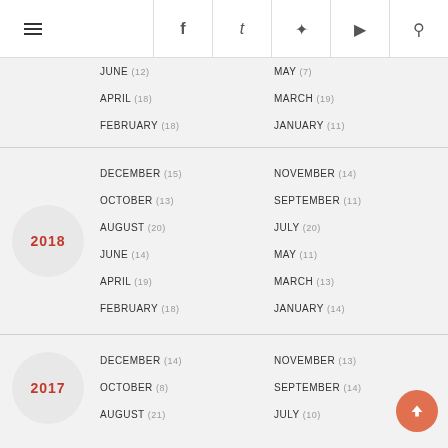Navigation bar with hamburger menu and social icons (f, twitter, pinterest, youtube, search)
JUNE (12)
MAY (7)
APRIL (18)
MARCH (19)
FEBRUARY (18)
JANUARY (11)
2018
DECEMBER (15)
NOVEMBER (14)
OCTOBER (13)
SEPTEMBER (11)
AUGUST (20)
JULY (20)
JUNE (14)
MAY (11)
APRIL (19)
MARCH (13)
FEBRUARY (18)
JANUARY (14)
2017
DECEMBER (14)
NOVEMBER (13)
OCTOBER (8)
SEPTEMBER (14)
AUGUST (21)
JULY (10)